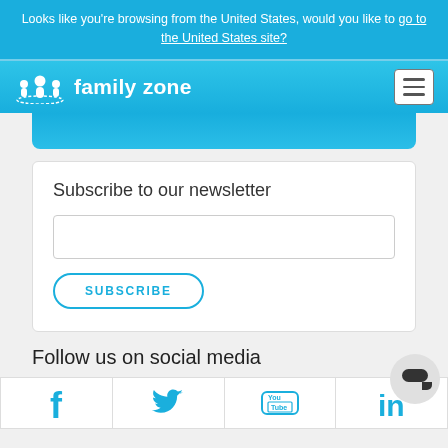Looks like you’re browsing from the United States, would you like to go to the United States site?
[Figure (logo): Family Zone logo with people icon and text 'family zone' on blue navbar]
Subscribe to our newsletter
SUBSCRIBE
Follow us on social media
[Figure (infographic): Social media icons row: Facebook, Twitter, YouTube, LinkedIn]